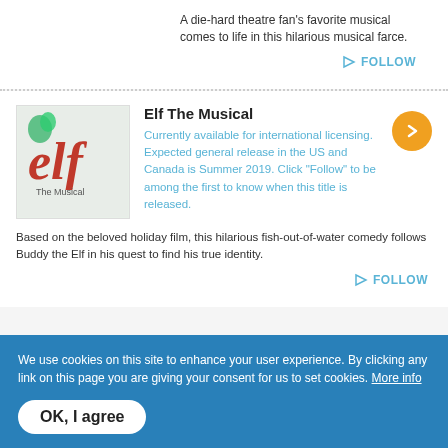A die-hard theatre fan's favorite musical comes to life in this hilarious musical farce.
FOLLOW
Elf The Musical
Currently available for international licensing. Expected general release in the US and Canada is Summer 2019. Click "Follow" to be among the first to know when this title is released.
Based on the beloved holiday film, this hilarious fish-out-of-water comedy follows Buddy the Elf in his quest to find his true identity.
FOLLOW
We use cookies on this site to enhance your user experience. By clicking any link on this page you are giving your consent for us to set cookies. More info
OK, I agree